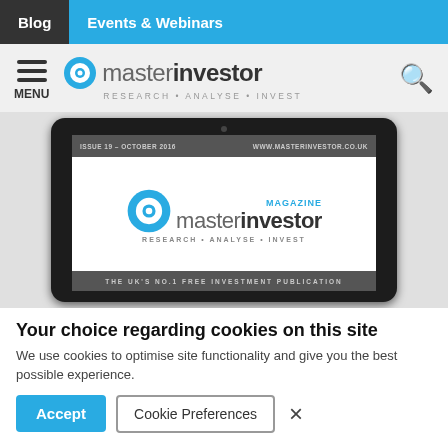Blog | Events & Webinars
[Figure (logo): Master Investor website header with hamburger menu, logo, and search icon]
[Figure (screenshot): Tablet device showing Master Investor Magazine cover - Issue 19, October 2016. THE UK'S NO.1 FREE INVESTMENT PUBLICATION]
Your choice regarding cookies on this site
We use cookies to optimise site functionality and give you the best possible experience.
Accept | Cookie Preferences | X